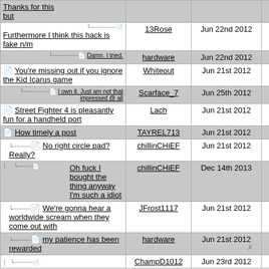| Thread Title | Author | Date | Replies |
| --- | --- | --- | --- |
| Thanks for this but |  |  |  |
| Furthermore I think this hack is fake n/m | 13Rose | Jun 22nd 2012 | 19 |
| Damn. I tried. | hardware | Jun 22nd 2012 | 23 |
| You're missing out if you ignore the Kid Icarus game | Whiteout | Jun 21st 2012 | 12 |
| I own it. Just am not that impressed @ all | Scarface_7 | Jun 25th 2012 | 31 |
| Street Fighter 4 is pleasantly fun for a handheld port | Lach | Jun 21st 2012 | 13 |
| How timely a post | TAYREL713 | Jun 21st 2012 | 14 |
| No right circle pad? Really? | chillinCHiEF | Jun 21st 2012 | 15 |
| Oh fuck I bought the thing anyway I'm such a idiot | chillinCHiEF | Dec 14th 2013 | 43 |
| We're gonna hear a worldwide scream when they come out with | JFrost1117 | Jun 21st 2012 | 16 |
| my patience has been rewarded | hardware | Jun 21st 2012 | 17 |
| (partial row) | ChampD1012 | Jun 23rd 2012 | 29 |